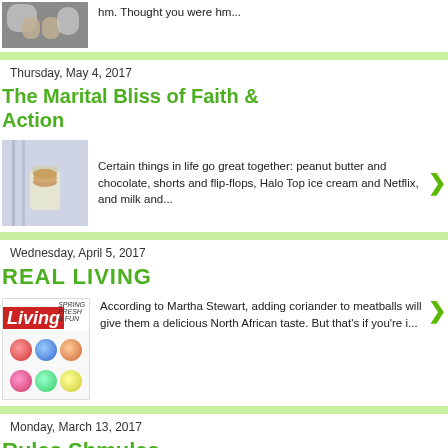[Figure (photo): Partial view of a photo (animal paws/feet) at the top of the page]
hm. Thought you were hm...
Thursday, May 4, 2017
The Marital Bliss of Faith & Action
[Figure (photo): Photo of cookies or baked goods in a glass jar]
Certain things in life go great together: peanut butter and chocolate, shorts and flip-flops, Halo Top ice cream and Netflix, and milk and...
Wednesday, April 5, 2017
REAL LIVING
[Figure (photo): Martha Stewart Living magazine cover with colorful decorated items]
According to Martha Stewart, adding coriander to meatballs will give them a delicious North African taste. But that's if you're i...
Monday, March 13, 2017
Rules Shmules